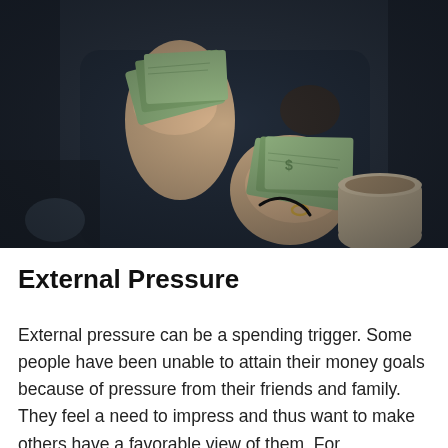[Figure (photo): A person counting US dollar bills with both hands, wearing a dark t-shirt and a bracelet with a ring visible, holding crumpled cash. A beige ceramic cup is visible at the bottom right. Dark moody background.]
External Pressure
External pressure can be a spending trigger. Some people have been unable to attain their money goals because of pressure from their friends and family. They feel a need to impress and thus want to make others have a favorable view of them. For